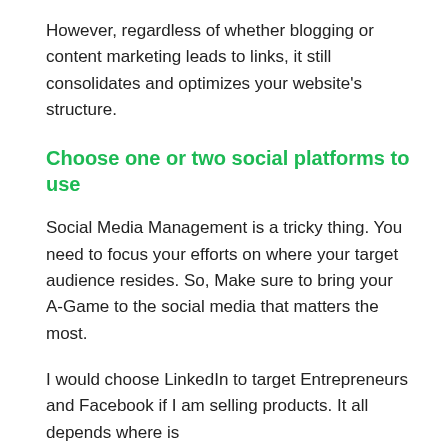However, regardless of whether blogging or content marketing leads to links, it still consolidates and optimizes your website's structure.
Choose one or two social platforms to use
Social Media Management is a tricky thing. You need to focus your efforts on where your target audience resides. So, Make sure to bring your A-Game to the social media that matters the most.
I would choose LinkedIn to target Entrepreneurs and Facebook if I am selling products. It all depends where is
Solicit reviews and ratings to build trust